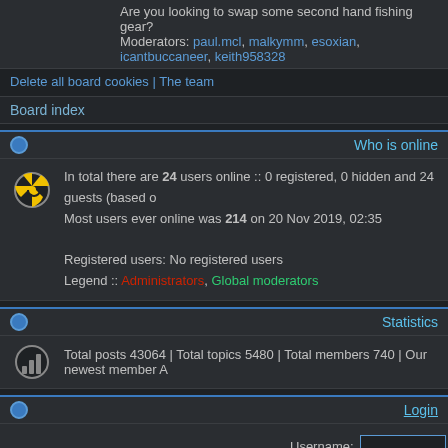Are you looking to swap some second hand fishing gear?
Moderators: paul.mcl, malkymm, esoxian, icantbuccaneer, keith958328
Delete all board cookies | The team
Board index
Who is online
In total there are 24 users online :: 0 registered, 0 hidden and 24 guests (based o
Most users ever online was 214 on 20 Nov 2019, 02:35
Registered users: No registered users
Legend :: Administrators, Global moderators
Statistics
Total posts 43064 | Total topics 5480 | Total members 740 | Our newest member A
Login
Username:  Password:  Log m
Unread posts    No unread po
Powered by phpBB® Forum Software
Designed by STSoftware fo